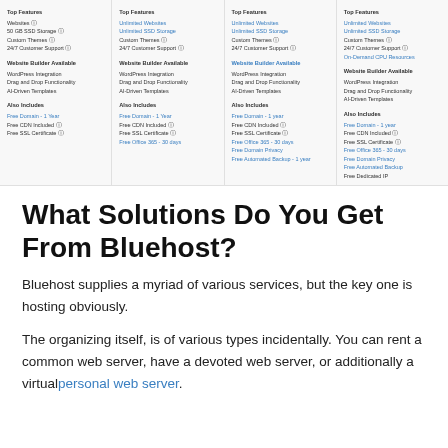[Figure (screenshot): Screenshot of Bluehost hosting plan comparison showing four plan columns with Top Features, Website Builder Available, and Also Includes sections. Items include Websites, SSD Storage, Custom Themes, 24/7 Customer Support, WordPress Integration, Drag and Drop Functionality, AI-Driven Templates, Free Domain, Free CDN Included, Free SSL Certificate, Free Office 365, Free Domain Privacy, Free Automated Backup, Free Dedicated IP.]
What Solutions Do You Get From Bluehost?
Bluehost supplies a myriad of various services, but the key one is hosting obviously.
The organizing itself, is of various types incidentally. You can rent a common web server, have a devoted web server, or additionally a virtual personal web server.